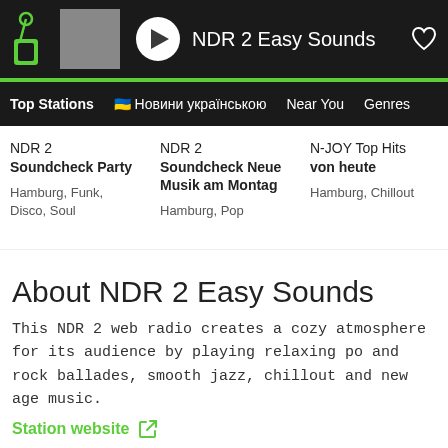NDR 2 Easy Sounds
Top Stations | 🇺🇦 Новини українською | Near You | Genres
NDR 2 Soundcheck Party
Hamburg, Funk, Disco, Soul
NDR 2 Soundcheck Neue Musik am Montag
Hamburg, Pop
N-JOY Top Hits von heute
Hamburg, Chillout
NDR 2 Soundcheck Peter
Hambu Alterna
About NDR 2 Easy Sounds
This NDR 2 web radio creates a cozy atmosphere for its audience by playing relaxing po and rock ballades, smooth jazz, chillout and new age music.
Station website